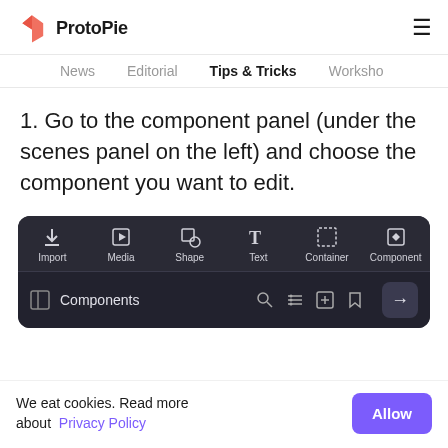ProtoPie
News  Editorial  Tips & Tricks  Worksho
1. Go to the component panel (under the scenes panel on the left) and choose the component you want to edit.
[Figure (screenshot): ProtoPie editor toolbar showing Import, Media, Shape, Text, Container, Component buttons, and a Components panel below with search and filter icons and an arrow button.]
We eat cookies. Read more about Privacy Policy
Allow